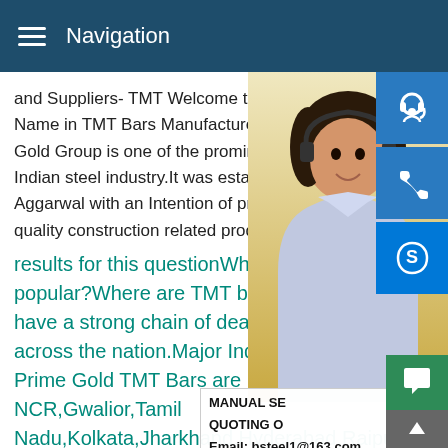Navigation
and Suppliers- TMT Welcome to Prime Go... Name in TMT Bars Manufacturers and Su... Gold Group is one of the prominent and de... Indian steel industry.It was established in ... Aggarwal with an Intention of providing an... quality construction related products.
results for this questionWhere... popular?Where are TMT bars... have a strong chain of dealers... across the nation.Major India... Prime Gold TMT Bars are popular are Delhi NCR,Gwalior,Tamil Nadu,Kolkata,Jharkhand,Hyderabad,Raipur Guia... Pradesh,and Uttar Pradesh.Best Quality TM... Bars Manufacturers and Suppliers- TMT Sa... Prime results for this questionWhat is the highest TMT bar?What is the highest TMT b...
[Figure (photo): Customer service representative woman wearing headset, with navigation icons on right side (headset, phone, Skype)]
MANUAL SE... QUOTING O... Email: bsteel1@163.com